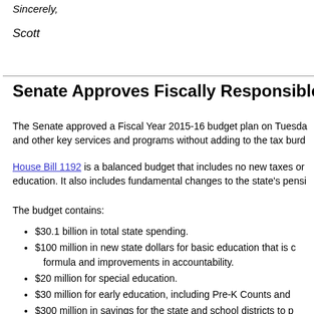Sincerely,
Scott
Senate Approves Fiscally Responsible Stat
The Senate approved a Fiscal Year 2015-16 budget plan on Tuesday and other key services and programs without adding to the tax burd
House Bill 1192 is a balanced budget that includes no new taxes or education. It also includes fundamental changes to the state’s pensi
The budget contains:
$30.1 billion in total state spending.
$100 million in new state dollars for basic education that is c formula and improvements in accountability.
$20 million for special education.
$30 million for early education, including Pre-K Counts and
$300 million in savings for the state and school districts to p
$50 million across the board for higher education.
$2.8 million to address avian flu.
Expanding community-based services for seniors to help kee
Structural reform to the pension system, which is the primar